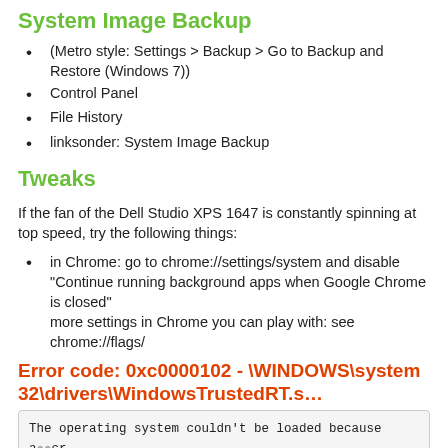System Image Backup
(Metro style: Settings > Backup > Go to Backup and Restore (Windows 7))
Control Panel
File History
linksonder: System Image Backup
Tweaks
If the fan of the Dell Studio XPS 1647 is constantly spinning at top speed, try the following things:
in Chrome: go to chrome://settings/system and disable "Continue running background apps when Google Chrome is closed"
more settings in Chrome you can play with: see chrome://flags/
Error code: 0xc0000102 - \WINDOWS\system32\drivers\WindowsTrustedRT.s…
The operating system couldn't be loaded because a cr

File: \WINDOWS\system32\drivers\WindowsTrustedRT.sys